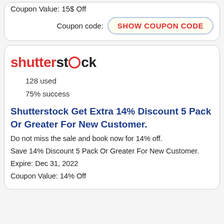Coupon Value: 15$ Off
Coupon code: SHOW COUPON CODE
[Figure (logo): Shutterstock logo with red 'shutter' text and dark 'stock' text with red circle replacing 'o']
128 used
75% success
Shutterstock Get Extra 14% Discount 5 Pack Or Greater For New Customer.
Do not miss the sale and book now for 14% off.
Save 14% Discount 5 Pack Or Greater For New Customer.
Expire: Dec 31, 2022
Coupon Value: 14% Off